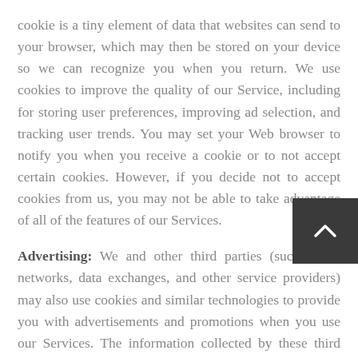cookie is a tiny element of data that websites can send to your browser, which may then be stored on your device so we can recognize you when you return. We use cookies to improve the quality of our Service, including for storing user preferences, improving ad selection, and tracking user trends. You may set your Web browser to notify you when you receive a cookie or to not accept certain cookies. However, if you decide not to accept cookies from us, you may not be able to take advantage of all of the features of our Services.
Advertising: We and other third parties (such as ad networks, data exchanges, and other service providers) may also use cookies and similar technologies to provide you with advertisements and promotions when you use our Services. The information collected by these third parties may be used to tailor ads you see